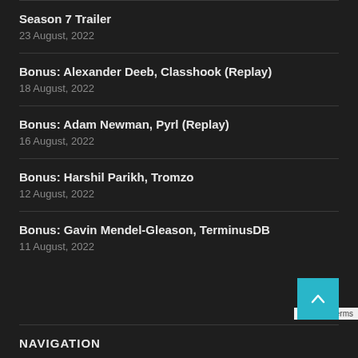Season 7 Trailer
23 August, 2022
Bonus: Alexander Deeb, Classhook (Replay)
18 August, 2022
Bonus: Adam Newman, Pyrl (Replay)
16 August, 2022
Bonus: Harshil Parikh, Tromzo
12 August, 2022
Bonus: Gavin Mendel-Gleason, TerminusDB
11 August, 2022
NAVIGATION